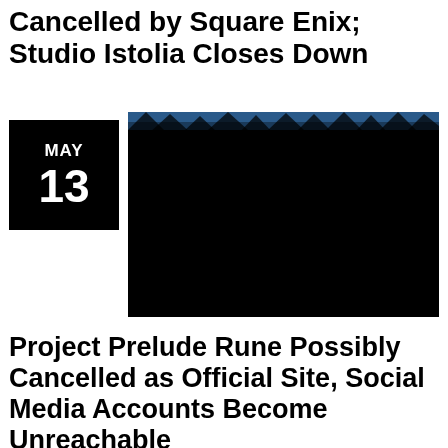Cancelled by Square Enix; Studio Istolia Closes Down
[Figure (photo): Dark screenshot/image from Project Prelude Rune game, mostly black with a faint blue-lit scene at the top showing trees or forest silhouettes]
Project Prelude Rune Possibly Cancelled as Official Site, Social Media Accounts Become Unreachable